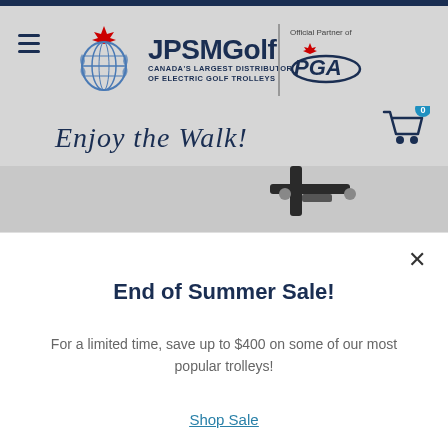[Figure (logo): JPSMGolf logo with stylized thistle/maple leaf emblem, company name, tagline 'Canada's Largest Distributor of Electric Golf Trolleys', and PGA Official Partner badge]
Enjoy the Walk!
[Figure (photo): Golf trolley product image partially visible at bottom of header area]
End of Summer Sale!
For a limited time, save up to $400 on some of our most popular trolleys!
Shop Sale